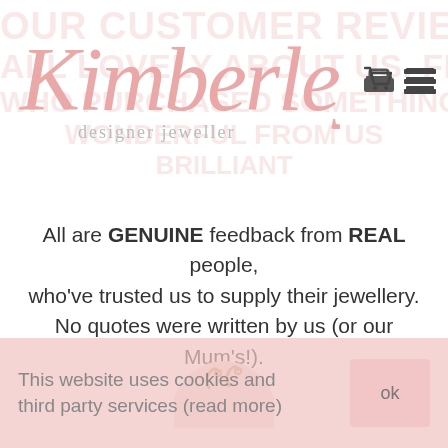[Figure (logo): Kimberley designer jeweller logo — pink cursive script 'Kimberley' above grey 'designer jeweller' text]
All are GENUINE feedback from REAL people, who've trusted us to supply their jewellery. No quotes were written by us (or our Mum's!).
[Figure (photo): Partial circular product image showing gold jewellery pieces on a light background]
This website uses cookies and third party services (read more) ok